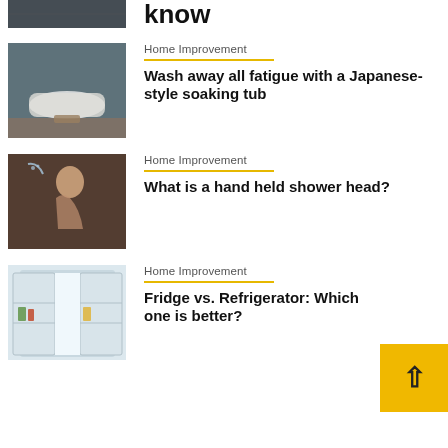[Figure (photo): Partial top of page - dark room image cropped at top]
know
[Figure (photo): Japanese soaking tub in dark bathroom]
Home Improvement
Wash away all fatigue with a Japanese-style soaking tub
[Figure (photo): Woman using hand held shower head in bathtub]
Home Improvement
What is a hand held shower head?
[Figure (photo): Open french door refrigerator with food inside]
Home Improvement
Fridge vs. Refrigerator: Which one is better?